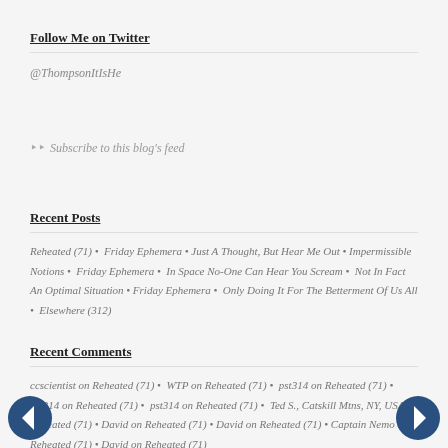Follow Me on Twitter
@ThompsonItIsHe
Subscribe to this blog's feed
Recent Posts
Reheated (71) • Friday Ephemera • Just A Thought, But Hear Me Out • Impermissible Notions • Friday Ephemera • In Space No-One Can Hear You Scream • Not In Fact An Optimal Situation • Friday Ephemera • Only Doing It For The Betterment Of Us All • Elsewhere (312)
Recent Comments
ccscientist on Reheated (71) • WTP on Reheated (71) • pst314 on Reheated (71) • pst314 on Reheated (71) • pst314 on Reheated (71) • Ted S., Catskill Mtns, NY, USA on Reheated (71) • David on Reheated (71) • David on Reheated (71) • Captain Nemo on Reheated (71) • David on Reheated (71)